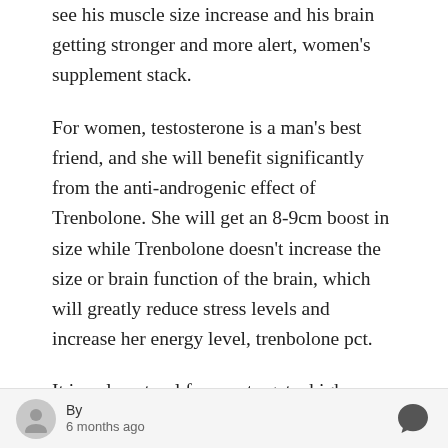see his muscle size increase and his brain getting stronger and more alert, women's supplement stack.
For women, testosterone is a man's best friend, and she will benefit significantly from the anti-androgenic effect of Trenbolone. She will get an 8-9cm boost in size while Trenbolone doesn't increase the size or brain function of the brain, which will greatly reduce stress levels and increase her energy level, trenbolone pct.
It is only natural for you to get a high
By 6 months ago